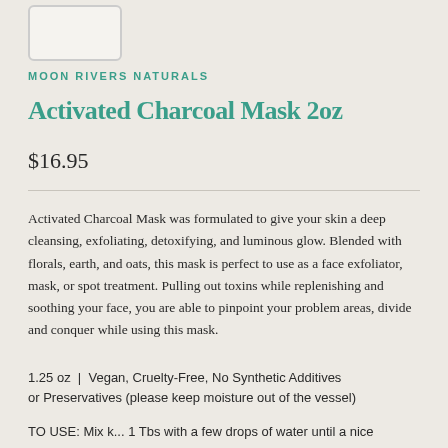[Figure (photo): Product image placeholder box (outline rectangle)]
MOON RIVERS NATURALS
Activated Charcoal Mask 2oz
$16.95
Activated Charcoal Mask was formulated to give your skin a deep cleansing, exfoliating, detoxifying, and luminous glow. Blended with florals, earth, and oats, this mask is perfect to use as a face exfoliator, mask, or spot treatment. Pulling out toxins while replenishing and soothing your face, you are able to pinpoint your problem areas, divide and conquer while using this mask.
1.25 oz  |  Vegan, Cruelty-Free, No Synthetic Additives or Preservatives (please keep moisture out of the vessel)
TO USE: Mix k... 1 Tbs with a few drops of water until a nice